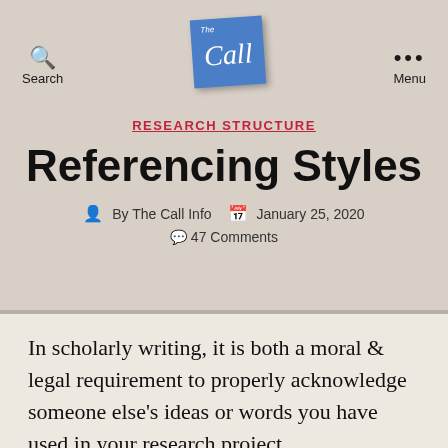Search | The Call | Menu
RESEARCH STRUCTURE
Referencing Styles
By The Call Info   January 25, 2020   47 Comments
In scholarly writing, it is both a moral & legal requirement to properly acknowledge someone else's ideas or words you have used in your research project.